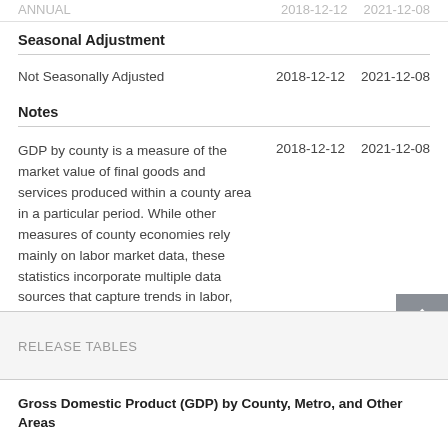ANNUAL   2018-12-12   2021-12-08
Seasonal Adjustment
|  | 2018-12-12 | 2021-12-08 |
| --- | --- | --- |
| Not Seasonally Adjusted | 2018-12-12 | 2021-12-08 |
Notes
|  | 2018-12-12 | 2021-12-08 |
| --- | --- | --- |
| GDP by county is a measure of the market value of final goods and services produced within a county area in a particular period. While other measures of county economies rely mainly on labor market data, these statistics incorporate multiple data sources that capture trends in labor, revenue, and value of production. As a result, the capital-intensive industries are captured more fully than when measured solely by labor data. | 2018-12-12 | 2021-12-08 |
RELEASE TABLES
Gross Domestic Product (GDP) by County, Metro, and Other Areas